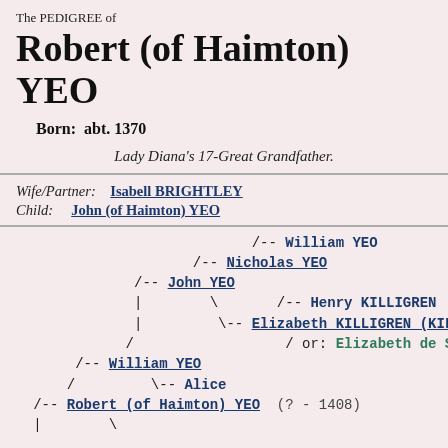The PEDIGREE of
Robert (of Haimton) YEO
Born:  abt. 1370
Lady Diana's 17-Great Grandfather.
Wife/Partner:   Isabell BRIGHTLEY
Child:    John (of Haimton) YEO
[Figure (organizational-chart): Pedigree tree showing ancestors of Robert (of Haimton) YEO including William YEO, Nicholas YEO, John YEO, Henry KILLIGREN, Elizabeth KILLIGREN, Elizabeth de SACHVI, William YEO, Alice, Robert (of Haimton) YEO (?-1408)]